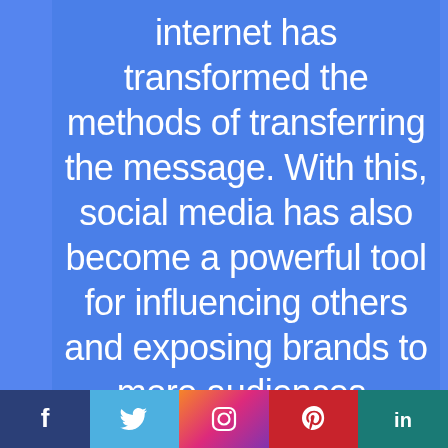internet has transformed the methods of transferring the message. With this, social media has also become a powerful tool for influencing others and exposing brands to more audiences.
[Figure (infographic): Social media icon bar at bottom with Facebook, Twitter, Instagram, Pinterest, and LinkedIn icons]